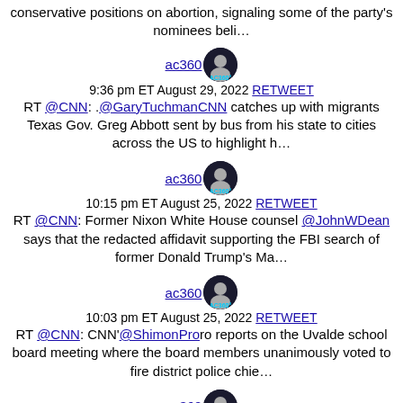conservative positions on abortion, signaling some of the party's nominees beli…
ac360 — 9:36 pm ET August 29, 2022 RETWEET
RT @CNN: .@GaryTuchmanCNN catches up with migrants Texas Gov. Greg Abbott sent by bus from his state to cities across the US to highlight h…
ac360 — 10:15 pm ET August 25, 2022 RETWEET
RT @CNN: Former Nixon White House counsel @JohnWDean says that the redacted affidavit supporting the FBI search of former Donald Trump's Ma…
ac360 — 10:03 pm ET August 25, 2022 RETWEET
RT @CNN: CNN'@ShimonProro reports on the Uvalde school board meeting where the board members unanimously voted to fire district police chie…
ac360 — 10:48 pm ET August 24, 2022 RETWEET
RT @CNN: John Dean and former federal judge Nancy Gertner